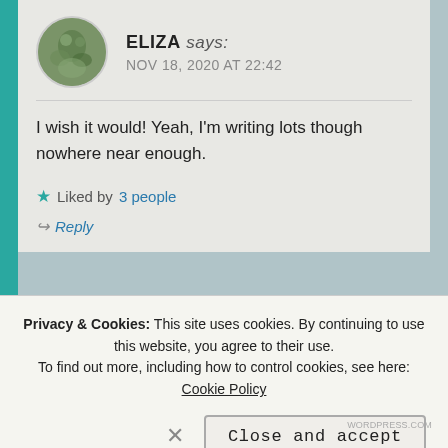ELIZA says: NOV 18, 2020 AT 22:42
I wish it would! Yeah, I'm writing lots though nowhere near enough.
★ Liked by 3 people
↪ Reply
Privacy & Cookies: This site uses cookies. By continuing to use this website, you agree to their use.
To find out more, including how to control cookies, see here: Cookie Policy
Close and accept